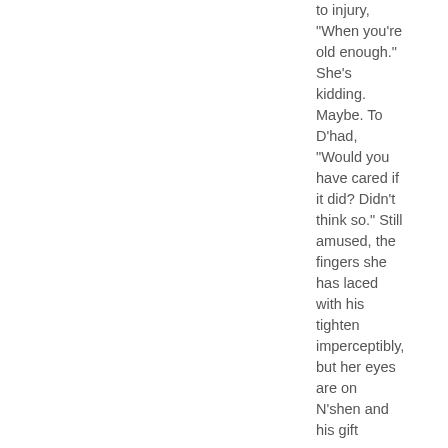to injury, "When you're old enough." She's kidding. Maybe. To D'had, "Would you have cared if it did? Didn't think so." Still amused, the fingers she has laced with his tighten imperceptibly, but her eyes are on N'shen and his gift
When N'shen does open the forearm-